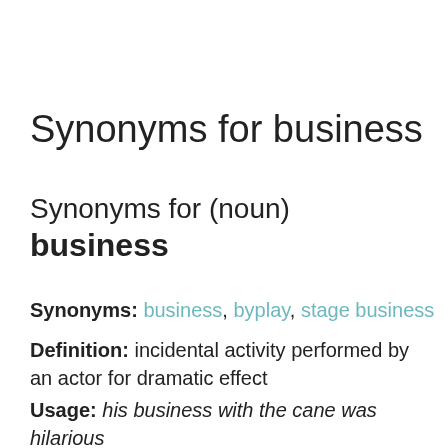Synonyms for business
Synonyms for (noun) business
Synonyms: business, byplay, stage business
Definition: incidental activity performed by an actor for dramatic effect
Usage: his business with the cane was hilarious